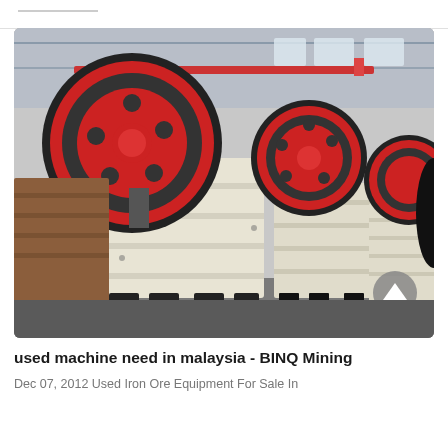[Figure (photo): Industrial jaw crusher machines with large red and black flywheels on a factory floor. Multiple cream/white colored heavy mining crushers arranged in a row inside a large industrial warehouse with steel roof structure visible in background.]
used machine need in malaysia - BINQ Mining
Dec 07, 2012 Used Iron Ore Equipment For Sale In